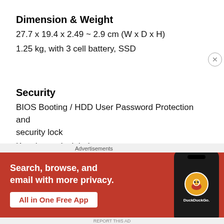Dimension & Weight
27.7 x 19.4 x 2.49 ~ 2.9 cm (W x D x H)
1.25 kg, with 3 cell battery, SSD
Security
BIOS Booting / HDD User Password Protection and security lock
Kensington lock hole
TPM(Trusted Platform Module) V1.2
[Figure (other): DuckDuckGo advertisement banner with orange/red background. Text reads 'Search, browse, and email with more privacy. All in One Free App'. Shows a phone with DuckDuckGo logo.]